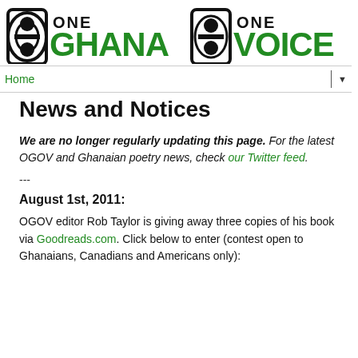[Figure (logo): One Ghana One Voice logo with two Adinkra symbol icons and green/black text reading ONE GHANA ONE VOICE]
Home ▼
News and Notices
We are no longer regularly updating this page. For the latest OGOV and Ghanaian poetry news, check our Twitter feed.
---
August 1st, 2011:
OGOV editor Rob Taylor is giving away three copies of his book via Goodreads.com. Click below to enter (contest open to Ghanaians, Canadians and Americans only):